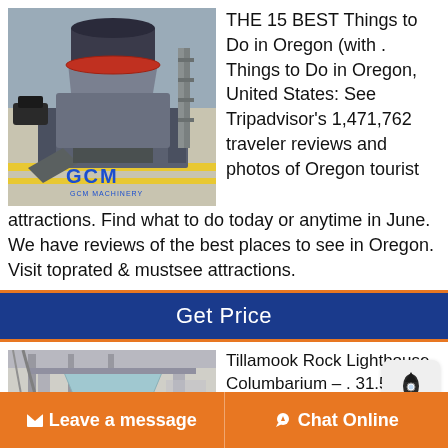[Figure (photo): Industrial machinery (cone crusher) in a warehouse with GCM Machinery logo]
THE 15 BEST Things to Do in Oregon (with . Things to Do in Oregon, United States: See Tripadvisor's 1,471,762 traveler reviews and photos of Oregon tourist attractions. Find what to do today or anytime in June. We have reviews of the best places to see in Oregon. Visit toprated & mustsee attractions.
Get Price
[Figure (photo): Industrial equipment with hopper/chute in a facility]
Tillamook Rock Lighthouse Columbarium – . 31.5.· Discover Tillamook Rock Lighthouse
Leave a message
Chat Online